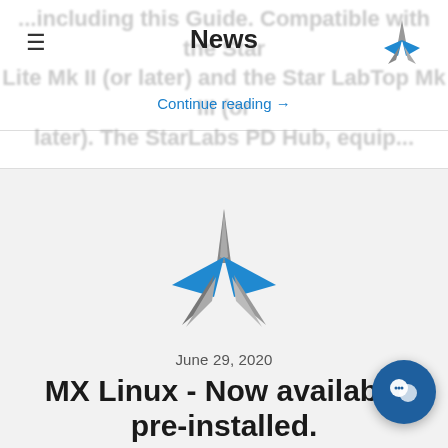News
Continue reading →
[Figure (logo): Star Labs logo — a blue and grey four-pointed star shape]
June 29, 2020
MX Linux - Now available pre-installed.